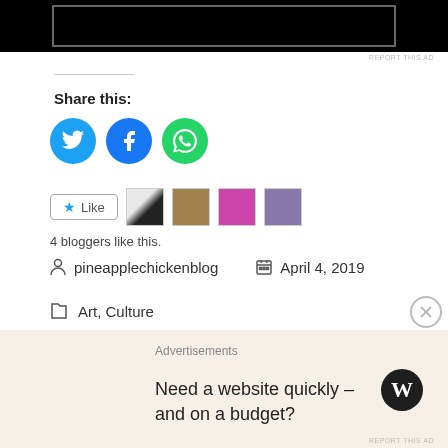[Figure (other): Black advertisement banner at top of page]
REPORT THIS AD
Share this:
[Figure (other): Social sharing icons: Twitter (blue circle), Facebook (blue circle), WhatsApp (green circle)]
[Figure (other): Like button and 4 blogger avatar thumbnails]
4 bloggers like this.
pineapplechickenblog    April 4, 2019
Art, Culture
Architecture, Art, Ateliers, Culture, Designer, Dior, Fashion, History, London
[Figure (other): WordPress advertisement banner: Need a website quickly – and on a budget?]
REPORT THIS AD